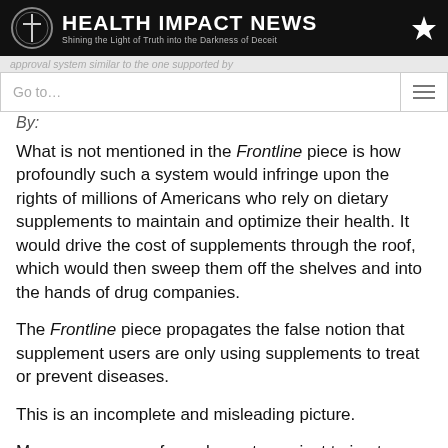HEALTH IMPACT NEWS — Shining the Light of Truth into the Darkness of Deceit
Go to...
What is not mentioned in the Frontline piece is how profoundly such a system would infringe upon the rights of millions of Americans who rely on dietary supplements to maintain and optimize their health. It would drive the cost of supplements through the roof, which would then sweep them off the shelves and into the hands of drug companies.
The Frontline piece propagates the false notion that supplement users are only using supplements to treat or prevent diseases.
This is an incomplete and misleading picture.
Many consumers of supplements are just trying to bolster their overall health in combination with diet, exercise, and